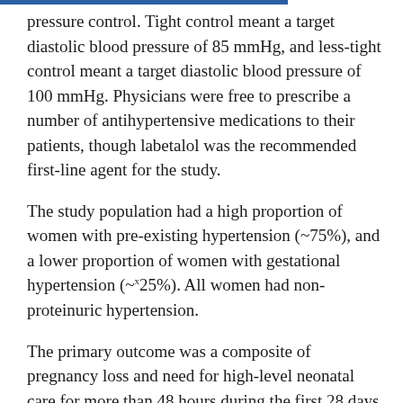pressure control. Tight control meant a target diastolic blood pressure of 85 mmHg, and less-tight control meant a target diastolic blood pressure of 100 mmHg. Physicians were free to prescribe a number of antihypertensive medications to their patients, though labetalol was the recommended first-line agent for the study.
The study population had a high proportion of women with pre-existing hypertension (~75%), and a lower proportion of women with gestational hypertension (~25%). All women had non-proteinuric hypertension.
The primary outcome was a composite of pregnancy loss and need for high-level neonatal care for more than 48 hours during the first 28 days of life. The secondary outcome was serious maternal complications occurring up till 6 weeks post-partum or until hospital discharge, whichever was later. There was no significant difference in the primary outcome between the less-